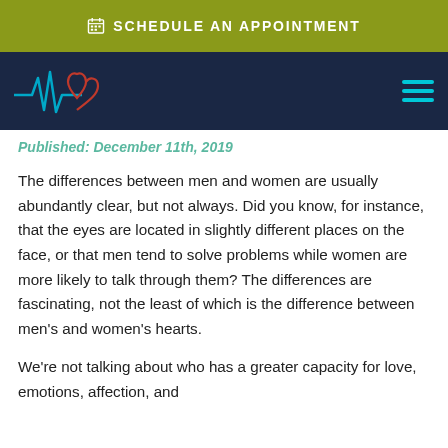SCHEDULE AN APPOINTMENT
Published: December 11th, 2019
The differences between men and women are usually abundantly clear, but not always. Did you know, for instance, that the eyes are located in slightly different places on the face, or that men tend to solve problems while women are more likely to talk through them? The differences are fascinating, not the least of which is the difference between men’s and women’s hearts.
We’re not talking about who has a greater capacity for love, emotions, affection, and